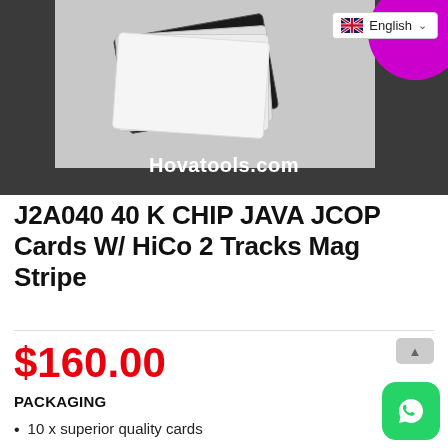[Figure (photo): Product photo area with dark gray background showing a stack of white/dark chip cards on a light background, with a magenta circle in the top right corner and a language selector (English with UK flag) dropdown at top right. Site watermark 'Hovatools.com' in white text at the bottom of the image area.]
J2A040 40 K CHIP JAVA JCOP Cards W/ HiCo 2 Tracks Mag Stripe
$160.00
PACKAGING
10 x superior quality cards